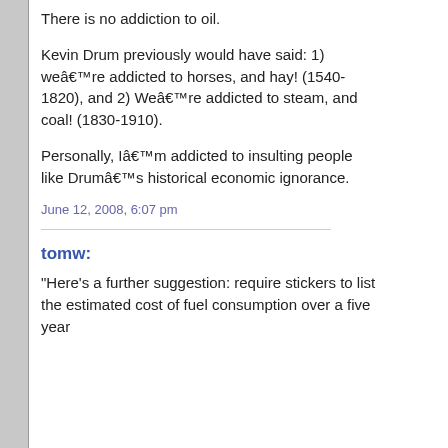There is no addiction to oil.
Kevin Drum previously would have said: 1) weâre addicted to horses, and hay! (1540-1820), and 2) Weâre addicted to steam, and coal! (1830-1910).
Personally, Iâm addicted to insulting people like Drumâs historical economic ignorance.
June 12, 2008, 6:07 pm
tomw:
"Here's a further suggestion: require stickers to list the estimated cost of fuel consumption over a five year